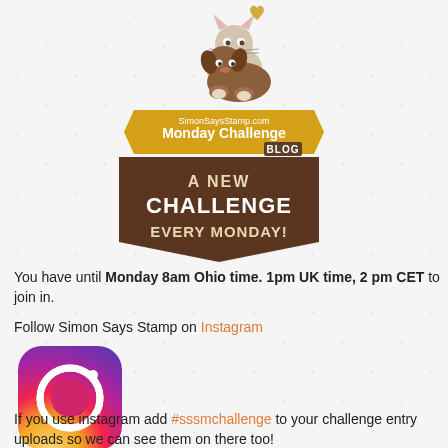[Figure (logo): Simon Says Stamp Monday Challenge Blog banner with illustrated dog and cat on top, golden ribbon banner with text 'SimonSaysStamp.com Monday Challenge BLOG' and dark brown pennant banner saying 'A NEW CHALLENGE EVERY MONDAY!']
You have until Monday 8am Ohio time. 1pm UK time, 2 pm CET to join in.
Follow Simon Says Stamp on Instagram
[Figure (logo): Instagram logo - colorful gradient square with rounded corners, white camera outline icon in center]
If you use instagram add #sssmchallenge to your challenge entry uploads so we can see them on there too!